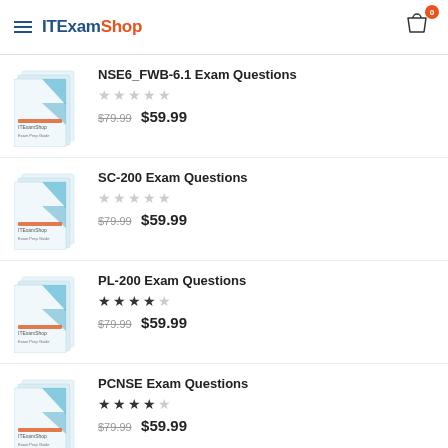ITExamShop
NSE6_FWB-6.1 Exam Questions — $79.99 $59.99
SC-200 Exam Questions — $79.99 $59.99
PL-200 Exam Questions — $79.99 $59.99
PCNSE Exam Questions — $79.99 $59.99
Sharing and Visibility Architect Exam Questions